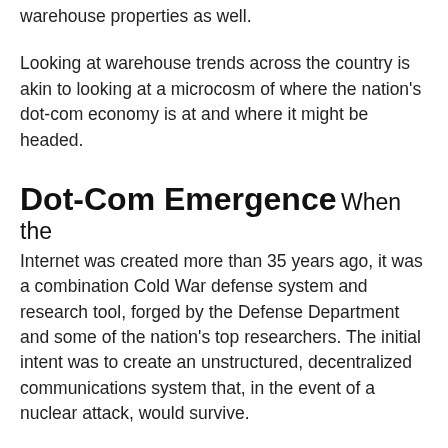warehouse properties as well.
Looking at warehouse trends across the country is akin to looking at a microcosm of where the nation's dot-com economy is at and where it might be headed.
Dot-Com Emergence
When the Internet was created more than 35 years ago, it was a combination Cold War defense system and research tool, forged by the Defense Department and some of the nation's top researchers. The initial intent was to create an unstructured, decentralized communications system that, in the event of a nuclear attack, would survive.
As everyone knows, today the Internet encompasses a world of information and e-commerce. The earliest dot-com retailers offered the opportunity to purchase goods